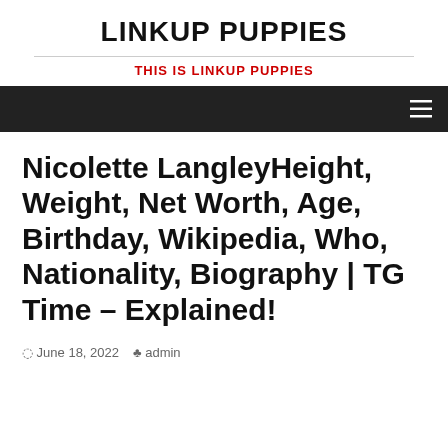LINKUP PUPPIES
THIS IS LINKUP PUPPIES
Nicolette LangleyHeight, Weight, Net Worth, Age, Birthday, Wikipedia, Who, Nationality, Biography | TG Time – Explained!
June 18, 2022  admin